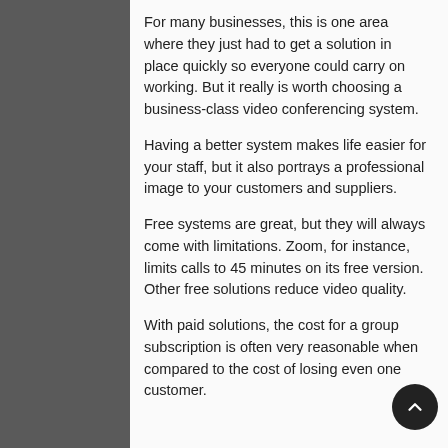For many businesses, this is one area where they just had to get a solution in place quickly so everyone could carry on working. But it really is worth choosing a business-class video conferencing system.
Having a better system makes life easier for your staff, but it also portrays a professional image to your customers and suppliers.
Free systems are great, but they will always come with limitations. Zoom, for instance, limits calls to 45 minutes on its free version. Other free solutions reduce video quality.
With paid solutions, the cost for a group subscription is often very reasonable when compared to the cost of losing even one customer.